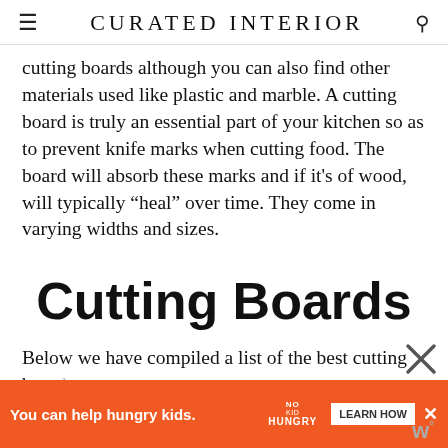CURATED INTERIOR
cutting boards although you can also find other materials used like plastic and marble. A cutting board is truly an essential part of your kitchen so as to prevent knife marks when cutting food. The board will absorb these marks and if it’s of wood, will typically “heal” over time. They come in varying widths and sizes.
Cutting Boards
Below we have compiled a list of the best cutting boards...
[Figure (other): Advertisement banner: orange background with text 'You can help hungry kids.' and No Kid Hungry logo with 'LEARN HOW' button and close button.]